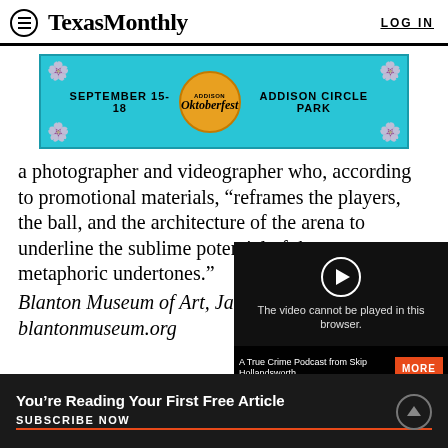Texas Monthly   LOG IN
[Figure (photo): Addison Oktoberfest advertisement banner: SEPTEMBER 15-18, Addison Oktoberfest logo, ADDISON CIRCLE PARK, teal/cyan background with floral decorations]
a photographer and videographer who, according to promotional materials, “reframes the players, the ball, and the architecture of the arena to underline the sublime potential of the game metaphoric undertones.”
Blanton Museum of Art, Jan blantonmuseum.org
[Figure (screenshot): Video player overlay showing 'The video cannot be played in this browser.' error message with a play button, and an ad strip below reading 'A True Crime Podcast from Skip Hollandsworth' with a red MORE button and a promo code]
You’re Reading Your First Free Article
SUBSCRIBE NOW